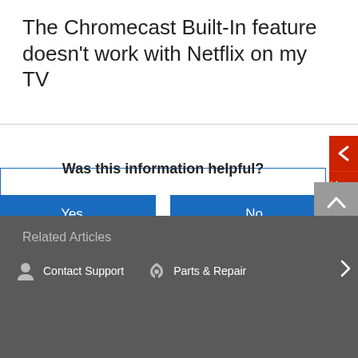The Chromecast Built-In feature doesn't work with Netflix on my TV
Was this information helpful?
Yes
No
Related Articles  Contact Support  Parts & Repair